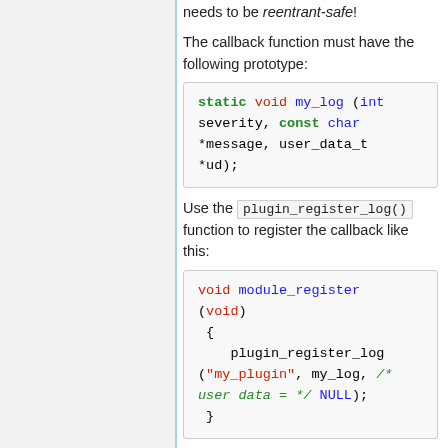needs to be reentrant-safe!
The callback function must have the following prototype:
[Figure (screenshot): Code block showing: static void my_log (int severity, const char *message, user_data_t *ud);]
Use the plugin_register_log() function to register the callback like this:
[Figure (screenshot): Code block showing: void module_register (void) { plugin_register_log ("my_plugin", my_log, /* user data = */ NULL); }]
Notification callbacks